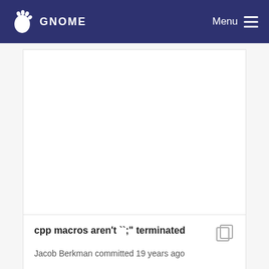GNOME  Menu
[Figure (other): Large white content panel area, mostly empty, representing a code/diff view area on the GNOME GitLab website.]
cpp macros aren't ``;"; terminated
Jacob Berkman committed 19 years ago